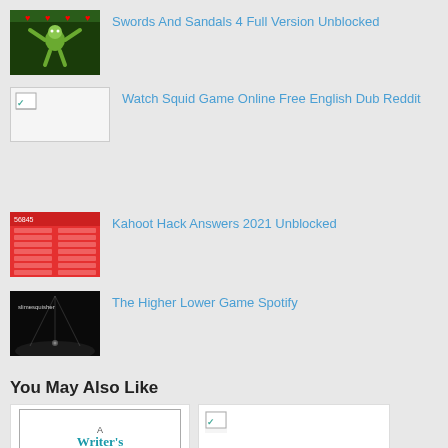Swords And Sandals 4 Full Version Unblocked
Watch Squid Game Online Free English Dub Reddit
Kahoot Hack Answers 2021 Unblocked
The Higher Lower Game Spotify
You May Also Like
[Figure (screenshot): A Writer's Reference book cover thumbnail]
[Figure (photo): Broken image placeholder]